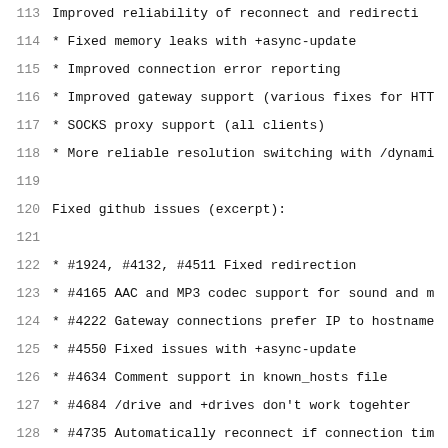113    Improved reliability of reconnect and redirecti
114  * Fixed memory leaks with +async-update
115  * Improved connection error reporting
116  * Improved gateway support (various fixes for HTT
117  * SOCKS proxy support (all clients)
118  * More reliable resolution switching with /dynami
119
120  Fixed github issues (excerpt):
121
122  * #1924, #4132, #4511 Fixed redirection
123  * #4165 AAC and MP3 codec support for sound and m
124  * #4222 Gateway connections prefer IP to hostname
125  * #4550 Fixed issues with +async-update
126  * #4634 Comment support in known_hosts file
127  * #4684 /drive and +drives don't work togehter
128  * #4735 Automatically reconnect if connection tim
129
130  See https://github.com/FreeRDP/FreeRDP/milestone/
131
132
133  # 2017-11-28    Version 2.0.0-rc2
134
135  FreeRDP 2.0.0-rc2 is the third release candidate